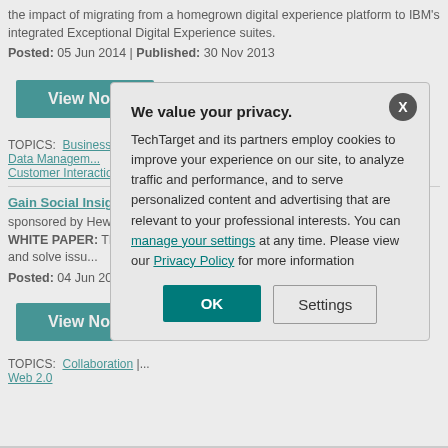the impact of migrating from a homegrown digital experience platform to IBM's integrated Exceptional Digital Experience suites.
Posted: 05 Jun 2014 | Published: 30 Nov 2013
[Figure (other): Teal 'View Now' button]
TOPICS: Business Process Management | CRM | CRM Software | Customer Data Management | Customer Interaction Se...
Gain Social Insight: C...
sponsored by Hewle... WHITE PAPER: Thi... computing capabiliti... operations. Learn ho... points and solve issu...
Posted: 04 Jun 201...
[Figure (other): Teal 'View Now' button]
TOPICS: Collaboration | ... Web 2.0
We value your privacy. TechTarget and its partners employ cookies to improve your experience on our site, to analyze traffic and performance, and to serve personalized content and advertising that are relevant to your professional interests. You can manage your settings at any time. Please view our Privacy Policy for more information
[Figure (other): Modal dialog OK button]
[Figure (other): Modal dialog Settings button]